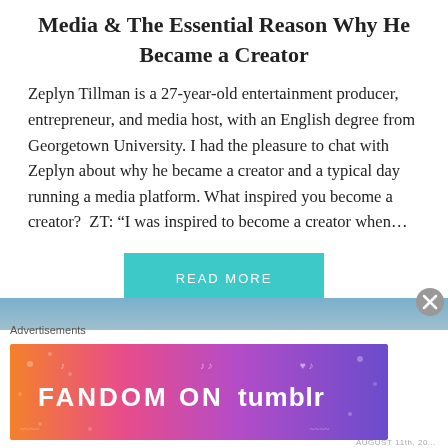Media & The Essential Reason Why He Became a Creator
Zeplyn Tillman is a 27-year-old entertainment producer, entrepreneur, and media host, with an English degree from Georgetown University. I had the pleasure to chat with Zeplyn about why he became a creator and a typical day running a media platform. What inspired you become a creator?  ZT: “I was inspired to become a creator when…
[Figure (other): Teal/cyan rectangular READ MORE button]
[Figure (other): Fandom on Tumblr advertisement banner with colorful gradient background (orange, pink, purple) and white text]
Advertisements